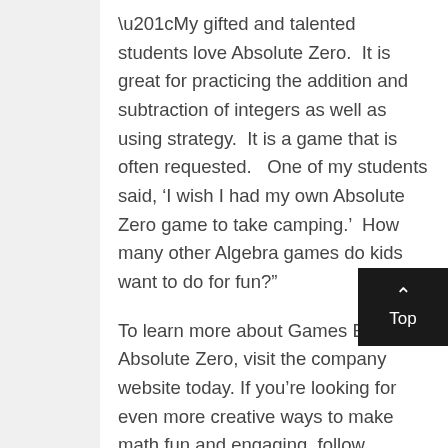“My gifted and talented students love Absolute Zero.  It is great for practicing the addition and subtraction of integers as well as using strategy.  It is a game that is often requested.   One of my students said, ‘I wish I had my own Absolute Zero game to take camping.’  How many other Algebra games do kids want to do for fun?”
To learn more about Games By Absolute Zero, visit the company website today. If you’re looking for even more creative ways to make math fun and engaging, follow Games By Absolute Zero on